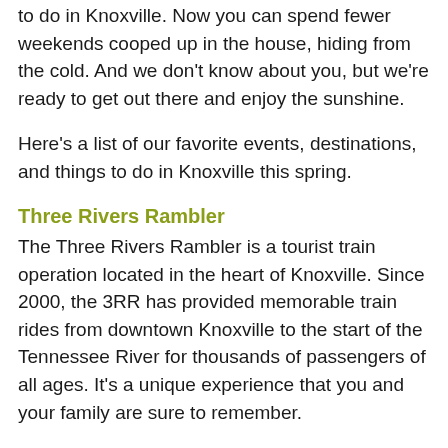to do in Knoxville. Now you can spend fewer weekends cooped up in the house, hiding from the cold. And we don't know about you, but we're ready to get out there and enjoy the sunshine.
Here's a list of our favorite events, destinations, and things to do in Knoxville this spring.
Three Rivers Rambler
The Three Rivers Rambler is a tourist train operation located in the heart of Knoxville. Since 2000, the 3RR has provided memorable train rides from downtown Knoxville to the start of the Tennessee River for thousands of passengers of all ages. It's a unique experience that you and your family are sure to remember.
Great Smoky Mountains National Park
With 500,000 acres of gorgeous views, walking